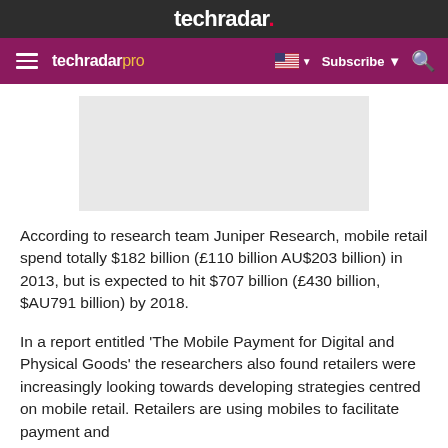techradar.
techradar pro  Subscribe
[Figure (other): Gray advertisement placeholder rectangle]
According to research team Juniper Research, mobile retail spend totally $182 billion (£110 billion AU$203 billion) in 2013, but is expected to hit $707 billion (£430 billion, $AU791 billion) by 2018.
In a report entitled 'The Mobile Payment for Digital and Physical Goods' the researchers also found retailers were increasingly looking towards developing strategies centred on mobile retail. Retailers are using mobiles to facilitate payment and